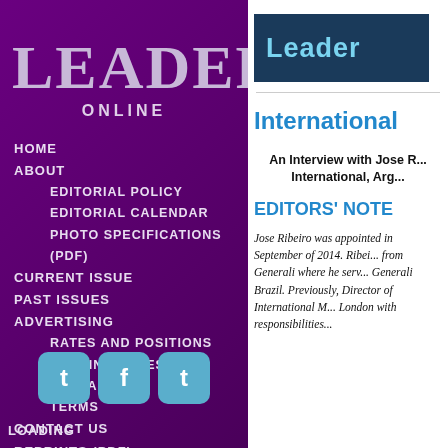LEADERS
ONLINE
HOME
ABOUT
EDITORIAL POLICY
EDITORIAL CALENDAR
PHOTO SPECIFICATIONS (PDF)
CURRENT ISSUE
PAST ISSUES
ADVERTISING
RATES AND POSITIONS
CLOSING DATES
DIGITAL ADS
TERMS
CONTACT US
REPRINTS (PDF)
BPA(PDF)
LOADING
[Figure (logo): Leaders magazine logo on dark blue background]
International
An Interview with Jose R... International, Arg...
EDITORS' NOTE
Jose Ribeiro was appointed in September of 2014. Ribeiro from Generali where he serv... Generali Brazil. Previously, Director of International M... London with responsibilities...